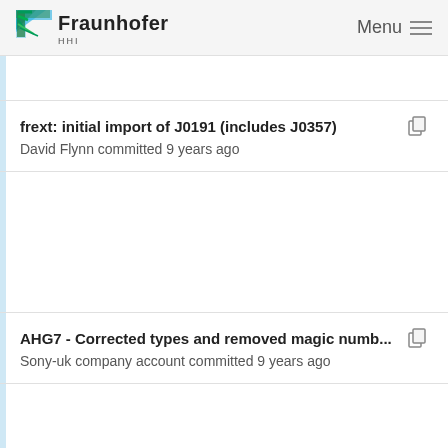Fraunhofer HHI Menu
frext: initial import of J0191 (includes J0357)
David Flynn committed 9 years ago
AHG7 - Corrected types and removed magic numb...
Sony-uk company account committed 9 years ago
RExt: Merged HM-9.0rc1
Sony-uk company account committed 9 years ago
AHG7 - Corrected types and removed magic numb...